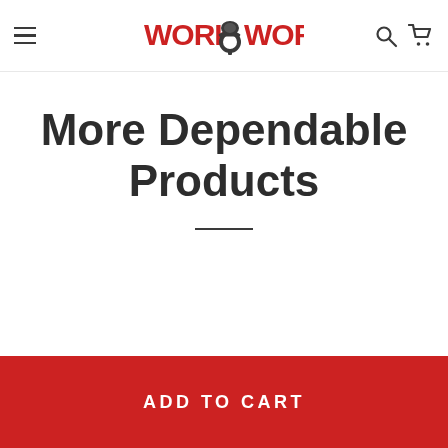WORK WORLD
More Dependable Products
ADD TO CART